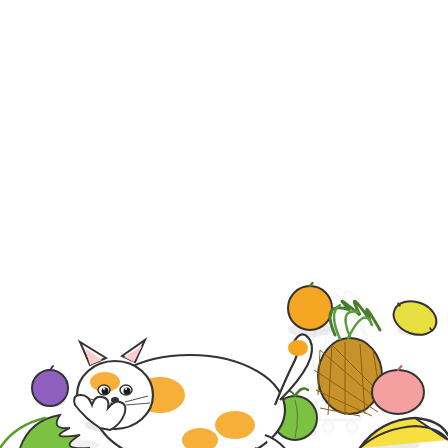[Figure (illustration): A cute cartoon calico cat lying on its back playfully, surrounded by various fruits including an orange, pineapple, lemon, peach/mango, banana, green apple, green leaves, and a purple plum. The cat is white with orange spots and has a curling tail. A faint watermark of a pineapple/shopping cart logo is visible in the background center-right. The illustration is drawn in a simple, cheerful doodle style with light gray shadows.]